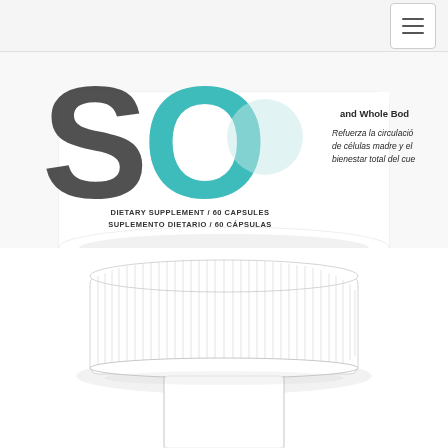Navigation menu
[Figure (photo): Close-up photograph of a white dietary supplement bottle (top portion). The label shows a teal/turquoise letter O with a partial S visible on the left, along with Spanish text 'Refuerza la circulación de células madre y el bienestar total del cue' and English text 'and Whole Body'. The bottom of the label reads 'DIETARY SUPPLEMENT / 60 CAPSULES' and 'SUPLEMENTO DIETARIO / 60 CÁPSULAS'. The bottle has a white base with shadow effect.]
[Figure (photo): Close-up photograph of the cap/top of the same white dietary supplement bottle, showing the ribbed white screw cap and the neck of the bottle with a slight shadow underneath.]